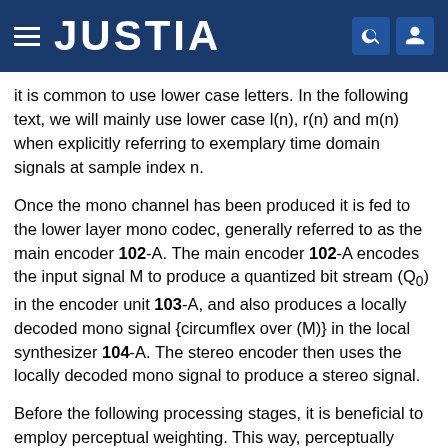JUSTIA
it is common to use lower case letters. In the following text, we will mainly use lower case l(n), r(n) and m(n) when explicitly referring to exemplary time domain signals at sample index n.
Once the mono channel has been produced it is fed to the lower layer mono codec, generally referred to as the main encoder 102-A. The main encoder 102-A encodes the input signal M to produce a quantized bit stream (Q0) in the encoder unit 103-A, and also produces a locally decoded mono signal {circumflex over (M)} in the local synthesizer 104-A. The stereo encoder then uses the locally decoded mono signal to produce a stereo signal.
Before the following processing stages, it is beneficial to employ perceptual weighting. This way, perceptually